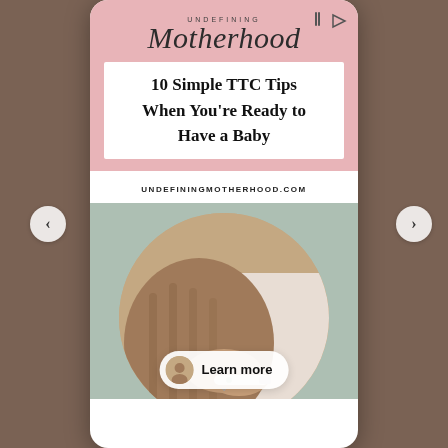UNDEFINING
Motherhood
10 Simple TTC Tips When You're Ready to Have a Baby
UNDEFININGMOTHERHOOD.COM
[Figure (photo): Person holding a pregnancy test, wearing a cozy sweater and white clothing, circular crop on sage green background]
Learn more